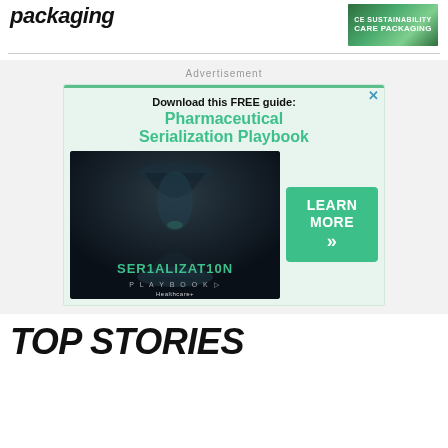packaging
[Figure (photo): Green sustainability care packaging banner image with white text overlay reading 'CE SUSTAINABILITY CARE PACKAGING']
Advertisement
[Figure (screenshot): Advertisement box for 'Pharmaceutical Serialization Playbook' free guide, featuring a dark book cover with 'SER1ALIZAT10N PLAYBOOK' text and a green 'LEARN MORE' button with chevrons]
TOP STORIES